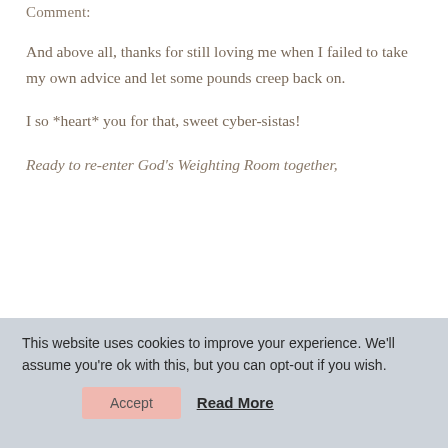Comment:
And above all, thanks for still loving me when I failed to take my own advice and let some pounds creep back on.
I so *heart* you for that, sweet cyber-sistas!
Ready to re-enter God's Weighting Room together,
This website uses cookies to improve your experience. We'll assume you're ok with this, but you can opt-out if you wish.
Accept
Read More